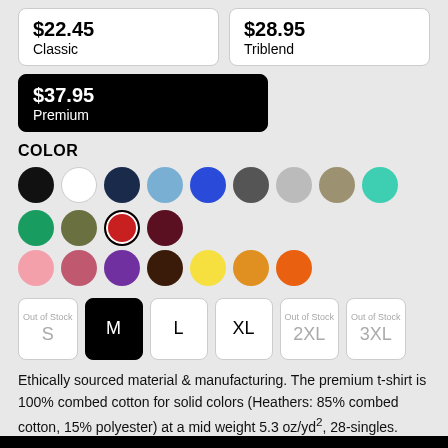$22.45
Classic
$28.95
Triblend
$37.95
Premium
COLOR
[Figure (other): Color swatches: black, white, navy, light blue, blue, dark gray, light gray, tan/khaki, teal, green, olive, red (selected), dark red/maroon, pink, mauve/rose, purple, brown, yellow, gold/amber, orange]
Out of Stock S | M | L | XL | Out of Stock 2XL | Out of Stock 3XL
Ethically sourced material & manufacturing. The premium t-shirt is 100% combed cotton for solid colors (Heathers: 85% combed cotton, 15% polyester) at a mid weight 5.3 oz/yd², 28-singles. More Product Information & Size Chart